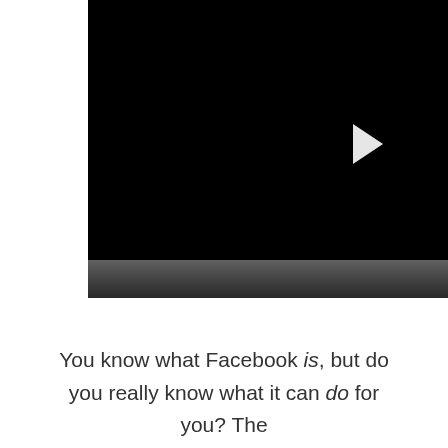[Figure (screenshot): A video player with a black screen showing a white play button triangle on the right-center area, and a dark control bar at the bottom.]
You know what Facebook is, but do you really know what it can do for you? The